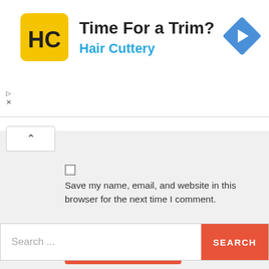[Figure (logo): Hair Cuttery advertisement banner with yellow HC logo, 'Time For a Trim?' headline, 'Hair Cuttery' subtitle in blue, and a blue diamond-shaped arrow icon on the right]
Save my name, email, and website in this browser for the next time I comment.
Post Comment
Search ...
SEARCH